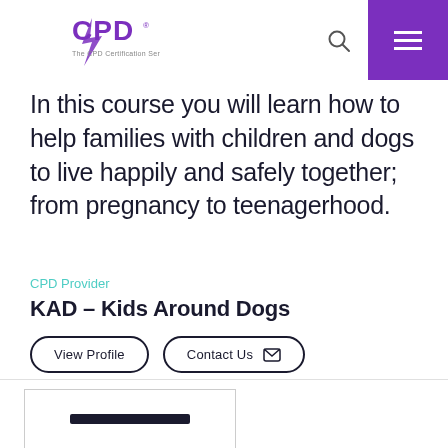[Figure (logo): CPD Certification Service logo with purple lightning bolt]
In this course you will learn how to help families with children and dogs to live happily and safely together; from pregnancy to teenagerhood.
CPD Provider
KAD – Kids Around Dogs
View Profile
Contact Us